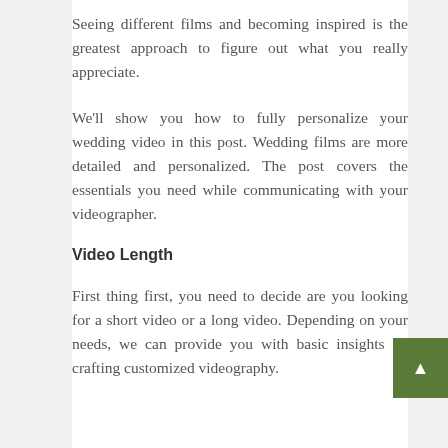Seeing different films and becoming inspired is the greatest approach to figure out what you really appreciate.
We'll show you how to fully personalize your wedding video in this post. Wedding films are more detailed and personalized. The post covers the essentials you need while communicating with your videographer.
Video Length
First thing first, you need to decide are you looking for a short video or a long video. Depending on your needs, we can provide you with basic insights on crafting customized videography.